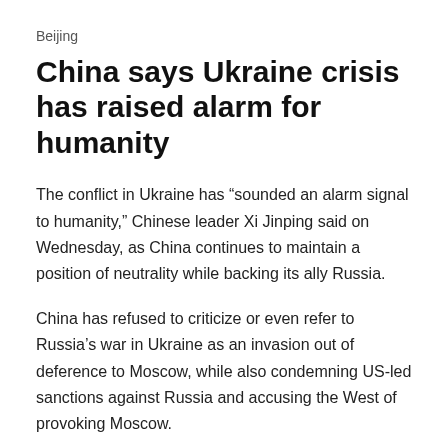Beijing
China says Ukraine crisis has raised alarm for humanity
The conflict in Ukraine has “sounded an alarm signal to humanity,” Chinese leader Xi Jinping said on Wednesday, as China continues to maintain a position of neutrality while backing its ally Russia.
China has refused to criticize or even refer to Russia’s war in Ukraine as an invasion out of deference to Moscow, while also condemning US-led sanctions against Russia and accusing the West of provoking Moscow.
“The crisis in Ukraine has once again raised the alarm for humanity. Countries will certainly run into security problems if they put blind faith in their strong position, expand military